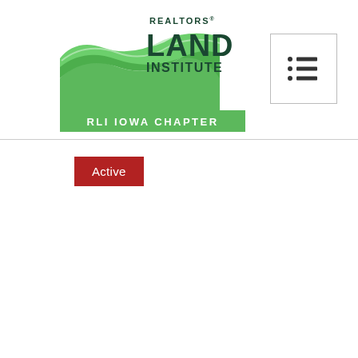[Figure (logo): Realtors Land Institute RLI Iowa Chapter logo — green landscape graphic with green and dark navy text, green bar at bottom with white text reading RLI IOWA CHAPTER]
[Figure (other): Navigation menu icon — three horizontal lines with bullet dots on the left, inside a bordered square button]
Active